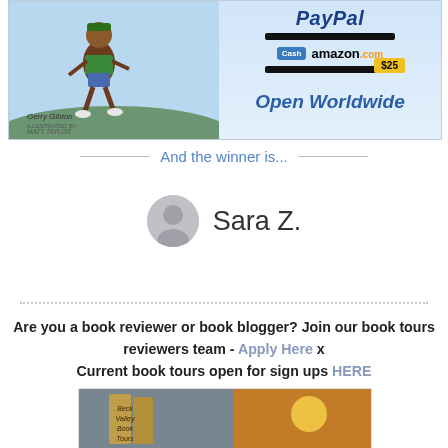[Figure (illustration): Promotional image showing a book cover with a running figure on the left half and PayPal/Amazon $25 gift card prize details on the right half, with 'Open Worldwide' text in blue italic]
And the winner is...
[Figure (illustration): Avatar circle icon (grey) next to the name 'Sara Z.']
Are you a book reviewer or book blogger? Join our book tours reviewers team - Apply Here x
Current book tours open for sign ups HERE
[Figure (illustration): Beck Valley Book Tours logo image showing books and a sunset background]